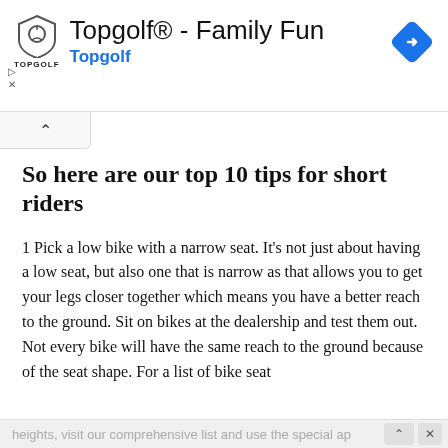[Figure (screenshot): Topgolf advertisement banner with shield logo, navigation arrow icon, play and close controls]
So here are our top 10 tips for short riders
1 Pick a low bike with a narrow seat. It’s not just about having a low seat, but also one that is narrow as that allows you to get your legs closer together which means you have a better reach to the ground. Sit on bikes at the dealership and test them out. Not every bike will have the same reach to the ground because of the seat shape. For a list of bike seat heights, visit our comprehensive list and use the special ap